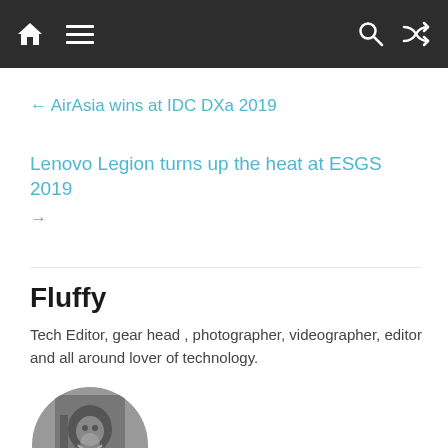Navigation bar with home, menu, search, and shuffle icons
← AirAsia wins at IDC DXa 2019
Lenovo Legion turns up the heat at ESGS 2019 →
Fluffy
Tech Editor, gear head , photographer, videographer, editor and all around lover of technology.
[Figure (photo): Black and white circular avatar photo of a person smiling]